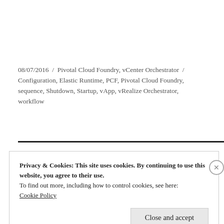08/07/2016 / Pivotal Cloud Foundry, vCenter Orchestrator / Configuration, Elastic Runtime, PCF, Pivotal Cloud Foundry, sequence, Shutdown, Startup, vApp, vRealize Orchestrator, workflow
Privacy & Cookies: This site uses cookies. By continuing to use this website, you agree to their use.
To find out more, including how to control cookies, see here:
Cookie Policy
Close and accept